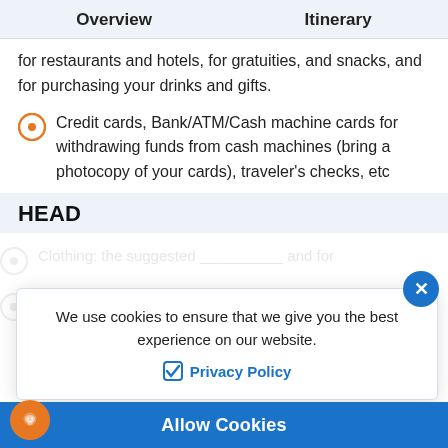Overview  Itinerary
for restaurants and hotels, for gratuities, and snacks, and for purchasing your drinks and gifts.
Credit cards, Bank/ATM/Cash machine cards for withdrawing funds from cash machines (bring a photocopy of your cards), traveler's checks, etc
HEAD
[Figure (screenshot): Cookie consent banner with text 'We use cookies to ensure that we give you the best experience on our website.' and a Privacy Policy link with checkbox, a close X button, and an Allow Cookies button at the bottom.]